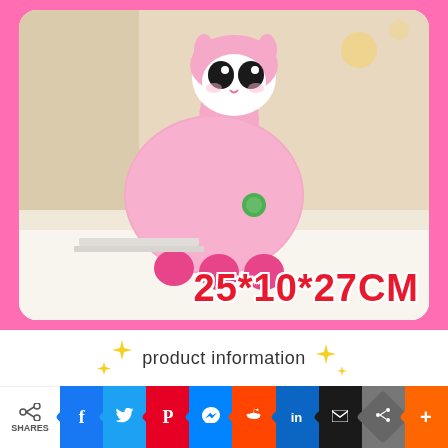[Figure (photo): Pink fluffy alpaca plush toy standing on a surface, with big black eyes and pink feet/hooves. Red text overlay reads '25*10*27CM'.]
product information
| product name | Electric hip alpaca |
| --- | --- |